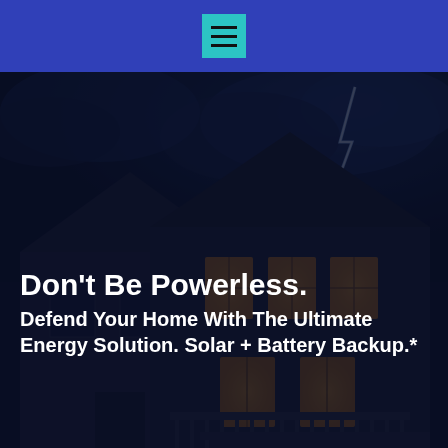[Figure (photo): Dark night scene of suburban residential houses with lights on inside windows, storm clouds and lightning bolt in the background sky, dramatic dark blue atmosphere]
Don't Be Powerless.
Defend Your Home With The Ultimate Energy Solution. Solar + Battery Backup.*